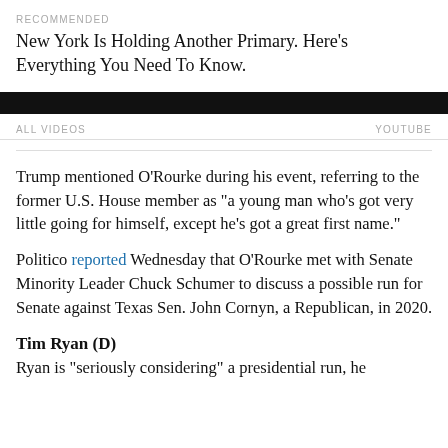RECOMMENDED
New York Is Holding Another Primary. Here’s Everything You Need To Know.
ALL VIDEOS | YOUTUBE
Trump mentioned O’Rourke during his event, referring to the former U.S. House member as “a young man who’s got very little going for himself, except he’s got a great first name.”
Politico reported Wednesday that O’Rourke met with Senate Minority Leader Chuck Schumer to discuss a possible run for Senate against Texas Sen. John Cornyn, a Republican, in 2020.
Tim Ryan (D)
Ryan is “seriously considering” a presidential run, he